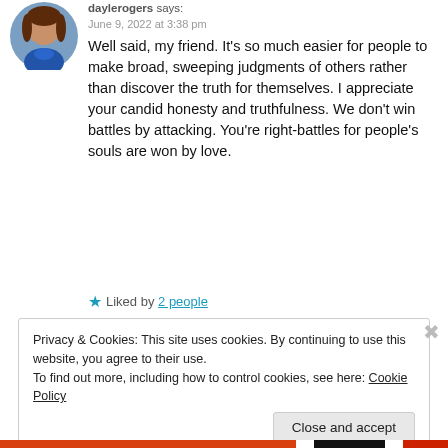[Figure (photo): Circular avatar photo of a woman with brown hair wearing a blue top]
daylerogers says:
June 9, 2022 at 3:38 pm
Well said, my friend. It’s so much easier for people to make broad, sweeping judgments of others rather than discover the truth for themselves. I appreciate your candid honesty and truthfulness. We don’t win battles by attacking. You’re right-battles for people’s souls are won by love.
★ Liked by 2 people
Privacy & Cookies: This site uses cookies. By continuing to use this website, you agree to their use.
To find out more, including how to control cookies, see here: Cookie Policy
Close and accept